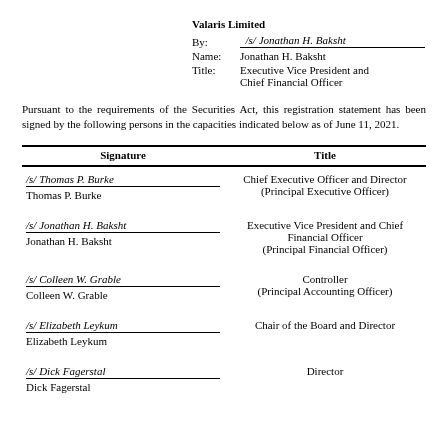Valaris Limited
By: /s/ Jonathan H. Baksht
Name: Jonathan H. Baksht
Title: Executive Vice President and Chief Financial Officer
Pursuant to the requirements of the Securities Act, this registration statement has been signed by the following persons in the capacities indicated below as of June 11, 2021.
| Signature | Title |
| --- | --- |
| /s/ Thomas P. Burke
Thomas P. Burke | Chief Executive Officer and Director
(Principal Executive Officer) |
| /s/ Jonathan H. Baksht
Jonathan H. Baksht | Executive Vice President and Chief Financial Officer
(Principal Financial Officer) |
| /s/ Colleen W. Grable
Colleen W. Grable | Controller
(Principal Accounting Officer) |
| /s/ Elizabeth Leykum
Elizabeth Leykum | Chair of the Board and Director |
| /s/ Dick Fagerstal
Dick Fagerstal | Director |